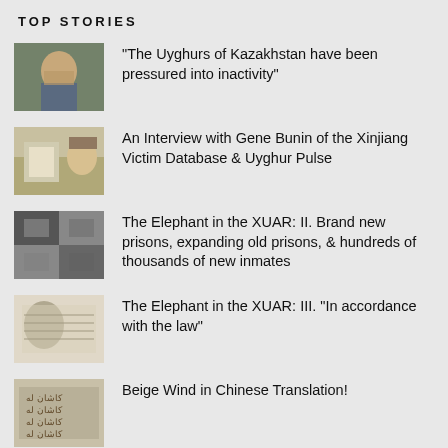TOP STORIES
"The Uyghurs of Kazakhstan have been pressured into inactivity"
An Interview with Gene Bunin of the Xinjiang Victim Database & Uyghur Pulse
The Elephant in the XUAR: II. Brand new prisons, expanding old prisons, & hundreds of thousands of new inmates
The Elephant in the XUAR: III. "In accordance with the law"
Beige Wind in Chinese Translation!
How racist nationalists hijacked Hong Kong's solidarity rally with Uyghurs
The Uyghur Rock Star Perhat on the Voice of China